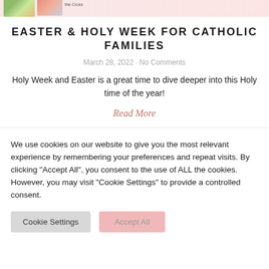[Figure (photo): Top strip showing book covers with Easter/Holy Week themes on a pink background]
EASTER & HOLY WEEK FOR CATHOLIC FAMILIES
March 28, 2022 · No Comments
Holy Week and Easter is a great time to dive deeper into this Holy time of the year!
Read More
We use cookies on our website to give you the most relevant experience by remembering your preferences and repeat visits. By clicking "Accept All", you consent to the use of ALL the cookies. However, you may visit "Cookie Settings" to provide a controlled consent.